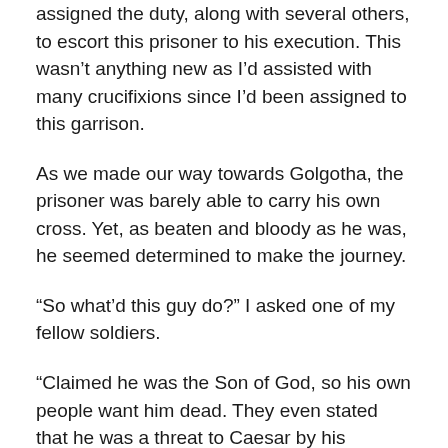assigned the duty, along with several others, to escort this prisoner to his execution. This wasn't anything new as I'd assisted with many crucifixions since I'd been assigned to this garrison.
As we made our way towards Golgotha, the prisoner was barely able to carry his own cross. Yet, as beaten and bloody as he was, he seemed determined to make the journey.
“So what’d this guy do?” I asked one of my fellow soldiers.
“Claimed he was the Son of God, so his own people want him dead. They even stated that he was a threat to Caesar by his claims.” he replied.
Okay, I suppose that makes sense, especially since the Caesars claim to be sons of god. Do they really execute